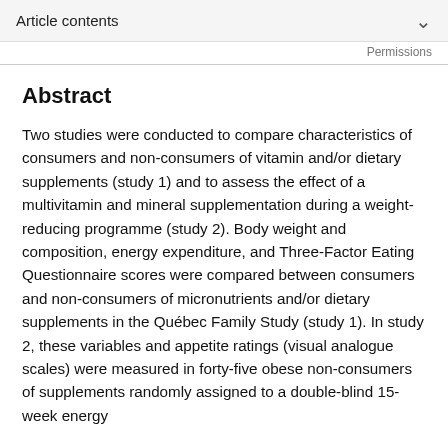Article contents
Permissions
Abstract
Two studies were conducted to compare characteristics of consumers and non-consumers of vitamin and/or dietary supplements (study 1) and to assess the effect of a multivitamin and mineral supplementation during a weight-reducing programme (study 2). Body weight and composition, energy expenditure, and Three-Factor Eating Questionnaire scores were compared between consumers and non-consumers of micronutrients and/or dietary supplements in the Québec Family Study (study 1). In study 2, these variables and appetite ratings (visual analogue scales) were measured in forty-five obese non-consumers of supplements randomly assigned to a double-blind 15-week energy